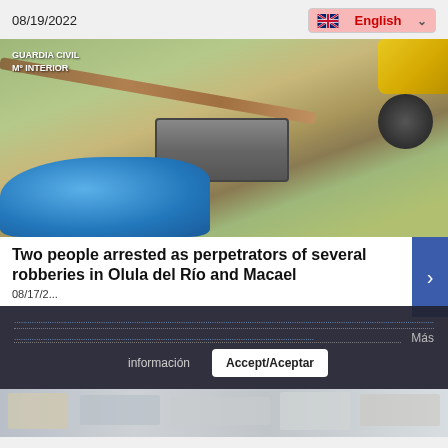08/19/2022
[Figure (screenshot): Language selector showing UK flag and 'English' text with dropdown chevron, pink/red background]
[Figure (photo): Guardia Civil / M° Interior labeled photo showing garden tools, a metal box/case, a blue plastic bag, a yellow object, and a dark circular weight on dry grass ground]
Two people arrested as perpetrators of several robberies in Olula del Río and Macael
08/17/2...
[Figure (screenshot): Cookie consent overlay with dotted link lines, Más button, información button, and Accept/Aceptar button on dark background]
[Figure (photo): Partial bottom image strip showing what appears to be an office or indoor scene]